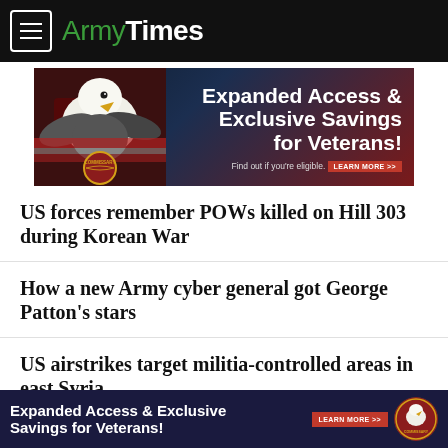ArmyTimes
[Figure (illustration): Commissary advertisement banner showing a bald eagle and American flag with text: Expanded Access & Exclusive Savings for Veterans! Find out if you're eligible. LEARN MORE >>]
US forces remember POWs killed on Hill 303 during Korean War
How a new Army cyber general got George Patton’s stars
US airstrikes target militia-controlled areas in east Syria
How harshly should DoD punish political, religious proselytizing?
[Figure (illustration): Bottom Commissary advertisement banner: Expanded Access & Exclusive Savings for Veterans! LEARN MORE >>]